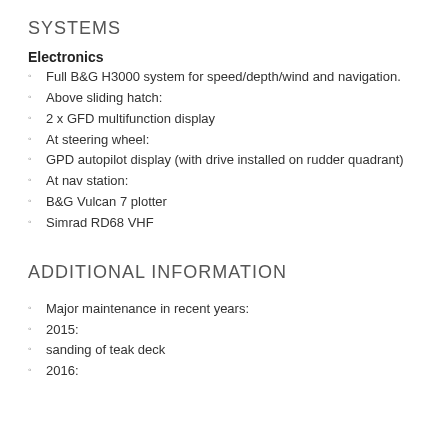SYSTEMS
Electronics
Full B&G H3000 system for speed/depth/wind and navigation.
Above sliding hatch:
2 x GFD multifunction display
At steering wheel:
GPD autopilot display (with drive installed on rudder quadrant)
At nav station:
B&G Vulcan 7 plotter
Simrad RD68 VHF
ADDITIONAL INFORMATION
Major maintenance in recent years:
2015:
sanding of teak deck
2016: